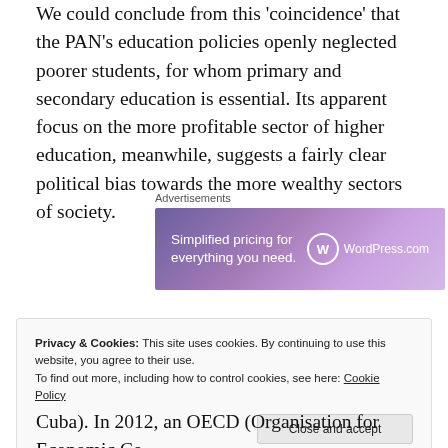We could conclude from this 'coincidence' that the PAN's education policies openly neglected poorer students, for whom primary and secondary education is essential. Its apparent focus on the more profitable sector of higher education, meanwhile, suggests a fairly clear political bias towards the more wealthy sectors of society.
[Figure (other): Advertisement banner for WordPress.com showing 'Simplified pricing for everything you need.' with WordPress.com logo on a purple gradient background]
Privacy & Cookies: This site uses cookies. By continuing to use this website, you agree to their use. To find out more, including how to control cookies, see here: Cookie Policy
Cuba). In 2012, an OECD (Organisation for Economic Co-